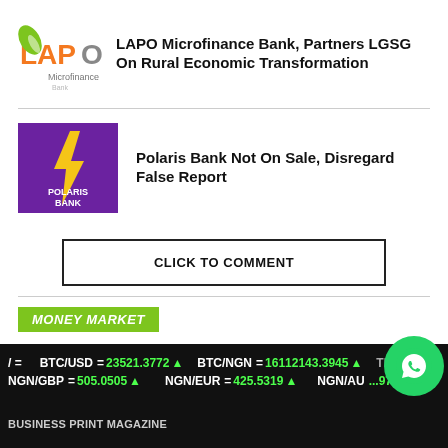[Figure (logo): LAPO Microfinance Bank logo with green leaf/hand icon]
LAPO Microfinance Bank, Partners LGSG On Rural Economic Transformation
[Figure (logo): Polaris Bank purple logo with yellow lightning bolt and 'POLARIS BANK' text]
Polaris Bank Not On Sale, Disregard False Report
CLICK TO COMMENT
MONEY MARKET
Sterling Premieres Anthology Of
/ =   BTC/USD = 23521.3772 ▲   BTC/NGN = 16112143.3945 ▲   TH   NGN/GBP = 505.0505 ▲   NGN/EUR = 425.5319 ▲   NGN/AU... ...977...   Business Print Magazine